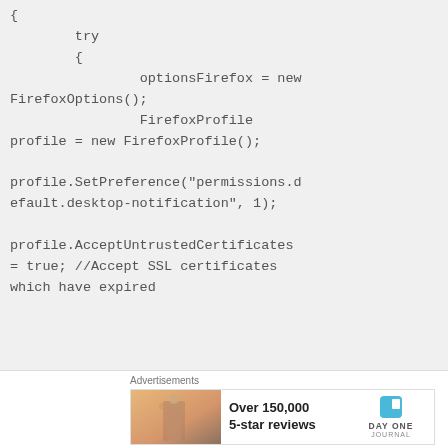{
        try
        {
                optionsFirefox = new FirefoxOptions();
                FirefoxProfile profile = new FirefoxProfile();

profile.SetPreference("permissions.default.desktop-notification", 1);

profile.AcceptUntrustedCertificates = true; //Accept SSL certificates which have expired
Advertisements
[Figure (other): Advertisement banner: Over 150,000 5-star reviews, DayOne Journal app logo]